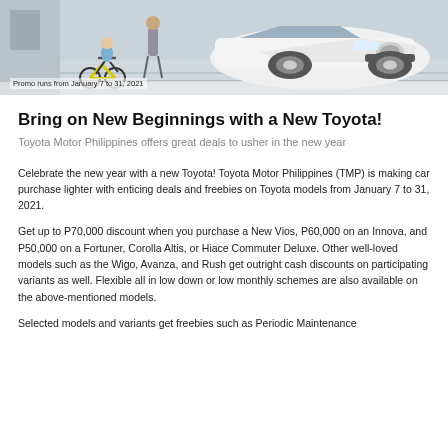[Figure (photo): Toyota car (New Vios) with a child on a yellow balance bike in the foreground, promotional image for Toyota Motor Philippines January 2021 promo]
Promo runs from January 7 to 31, 2021
Bring on New Beginnings with a New Toyota!
Toyota Motor Philippines offers great deals to usher in the new year
Celebrate the new year with a new Toyota! Toyota Motor Philippines (TMP) is making car purchase lighter with enticing deals and freebies on Toyota models from January 7 to 31, 2021.
Get up to P70,000 discount when you purchase a New Vios, P60,000 on an Innova, and P50,000 on a Fortuner, Corolla Altis, or Hiace Commuter Deluxe. Other well-loved models such as the Wigo, Avanza, and Rush get outright cash discounts on participating variants as well. Flexible all in low down or low monthly schemes are also available on the above-mentioned models.
Selected models and variants get freebies such as Periodic Maintenance